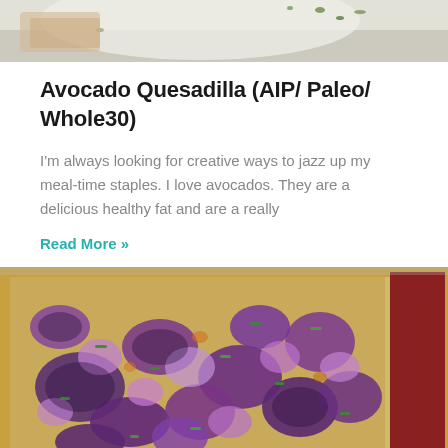[Figure (photo): Top portion of a food photo showing a light-colored plate with garnish, partially cropped]
Avocado Quesadilla (AIP/ Paleo/ Whole30)
I'm always looking for creative ways to jazz up my meal-time staples. I love avocados. They are a delicious healthy fat and are a really
Read More »
[Figure (photo): Overhead photo of roasted purple/red cabbage pieces scattered on a silicone baking mat on a baking sheet, garnished with green onions]